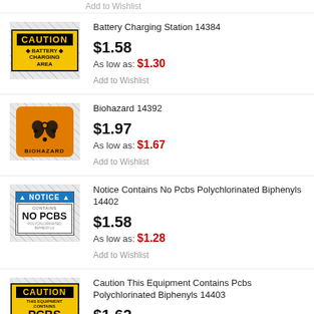Add to Wishlist
Battery Charging Station 14384
[Figure (illustration): Caution Battery Charging Area yellow warning sign]
$1.58
As low as: $1.30
Add to Wishlist
Biohazard 14392
[Figure (illustration): Orange biohazard warning sign with biohazard symbol]
$1.97
As low as: $1.67
Add to Wishlist
Notice Contains No Pcbs Polychlorinated Biphenyls 14402
[Figure (illustration): Notice Contains No PCBS Polychlorinated Biphenyls sign]
$1.58
As low as: $1.28
Add to Wishlist
Caution This Equipment Contains Pcbs Polychlorinated Biphenyls 14403
[Figure (illustration): Caution This Equipment Contains PCBS Polychlorinated Biphenyls yellow sign]
$1.62
As low as: $1.33
Add to Wishlist